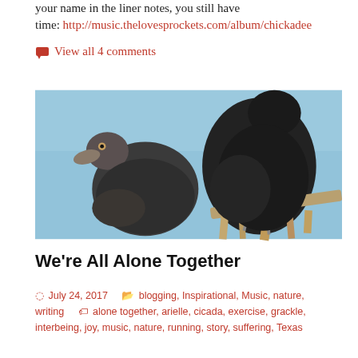your name in the liner notes, you still have time: http://music.thelovesprockets.com/album/chickadee
View all 4 comments
[Figure (photo): Two black vultures perched against a blue sky background. One smaller vulture facing left, one larger vulture perched on wood debris facing right.]
We're All Alone Together
July 24, 2017   blogging, Inspirational, Music, nature, writing   alone together, arielle, cicada, exercise, grackle, interbeing, joy, music, nature, running, story, suffering, Texas